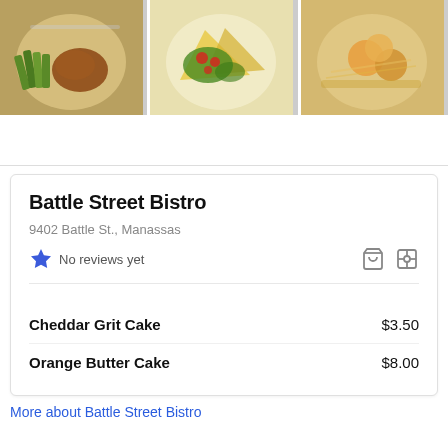[Figure (photo): Three food photos in a horizontal row: a plate with asparagus and meat in brown sauce, a taco/salad plate with greens and tomatoes, and a shrimp dish.]
Battle Street Bistro
9402 Battle St., Manassas
No reviews yet
| Item | Price |
| --- | --- |
| Cheddar Grit Cake | $3.50 |
| Orange Butter Cake | $8.00 |
More about Battle Street Bistro